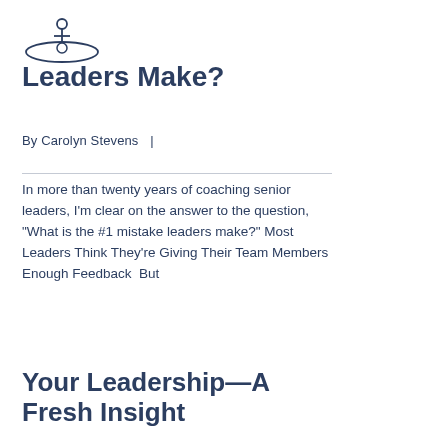[Figure (logo): Circular logo with a figure balanced on a sphere with orbital rings around it]
Leaders Make?
By Carolyn Stevens   |
In more than twenty years of coaching senior leaders, I'm clear on the answer to the question, “What is the #1 mistake leaders make?” Most Leaders Think They’re Giving Their Team Members Enough Feedback  But
READ MORE
Your Leadership—A Fresh Insight
By Carolyn Stevens   |
There’s a lot of research these days about how important it is to your